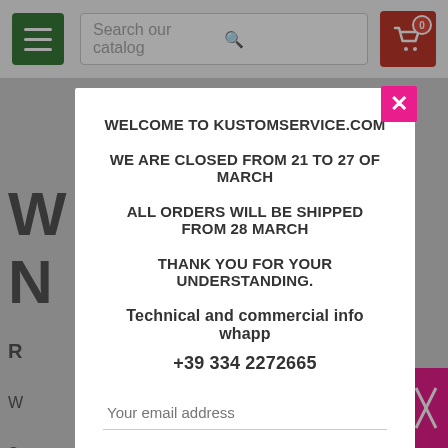[Figure (screenshot): Website header/nav bar with menu button, search bar, and cart icon]
WELCOME TO KUSTOMSERVICE.COM
WE ARE CLOSED FROM 21 TO 27 OF MARCH
ALL ORDERS WILL BE SHIPPED FROM 28 MARCH
THANK YOU FOR YOUR UNDERSTANDING.
Technical and commercial info whapp
+39 334 2272665
Your email address
OK